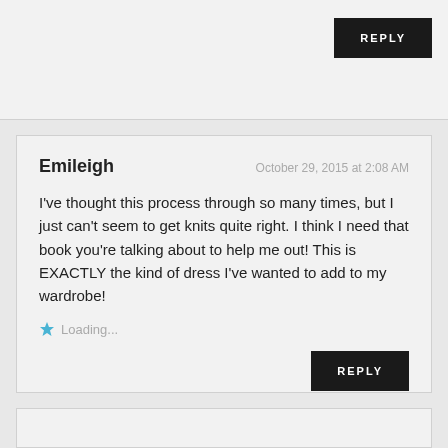REPLY
Emileigh
October 29, 2015 at 2:08 AM
I've thought this process through so many times, but I just can't seem to get knits quite right. I think I need that book you're talking about to help me out! This is EXACTLY the kind of dress I've wanted to add to my wardrobe!
Loading...
REPLY